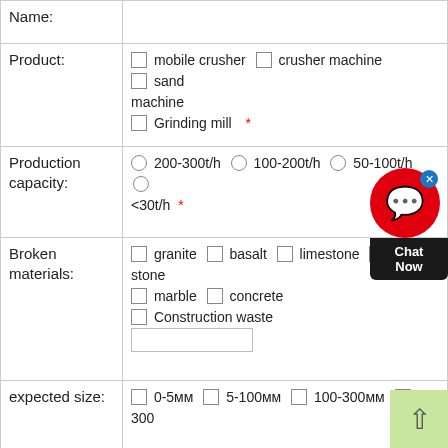| Field | Value |
| --- | --- |
| Name: |  |
| Product: | ☐ mobile crusher  ☐ crusher machine  ☐ sand machine  ☐ Grinding mill  * |
| Production capacity: | ◯ 200-300t/h  ◯ 100-200t/h  ◯ 50-100t/h  ◯ <30t/h  * |
| Broken materials: | ☐ granite  ☐ basalt  ☐ limestone  ☐ [river] stone  ☐ marble  ☐ concrete  ☐ Construction waste  [text input] |
| expected size: | ☐ 0-5мм  ☐ 5-100мм  ☐ 100-300мм  ☐ 300+ |
| expected size: | ☐ 0-5мм  ☐ 5-10мм  ☐ 10-20мм  ☐ 20-40м |
| Additional information: | ... |